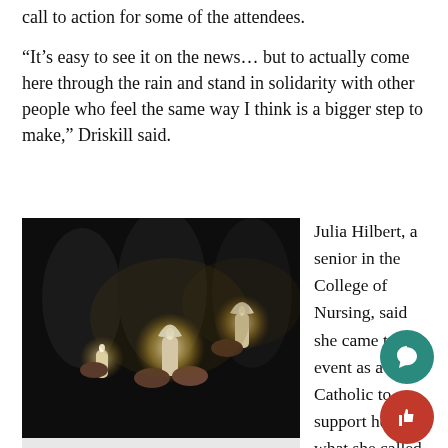call to action for some of the attendees.
“It’s easy to see it on the news… but to actually come here through the rain and stand in solidarity with other people who feel the same way I think is a bigger step to make,” Driskill said.
[Figure (photo): Students holding candles at a nighttime vigil, dark background with candlelight visible]
Students light each others candles at the vigil. Photo by Matt Serafin /matthew.serafin@mu.edu
Julia Hilbert, a senior in the College of Nursing, said she came to event as a Catholic to support her and what she called an interfaith